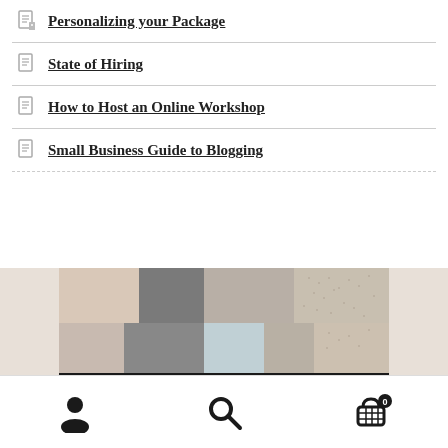Personalizing your Package
State of Hiring
How to Host an Online Workshop
Small Business Guide to Blogging
[Figure (photo): Book cover showing patchwork geometric pattern in beige, tan, grey tones with text 'NEUTRALITY' at the bottom in large letters]
User icon, Search icon, Cart icon with badge 0